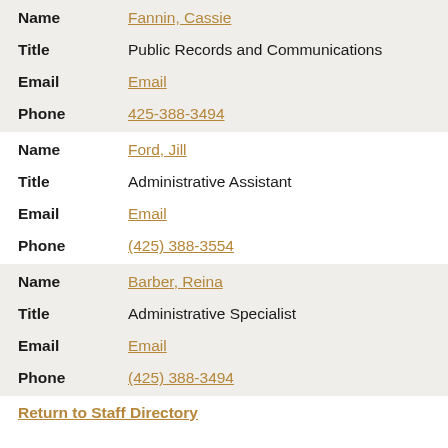| Field | Value |
| --- | --- |
| Name | Fannin, Cassie |
| Title | Public Records and Communications |
| Email | Email |
| Phone | 425-388-3494 |
| Name | Ford, Jill |
| Title | Administrative Assistant |
| Email | Email |
| Phone | (425) 388-3554 |
| Name | Barber, Reina |
| Title | Administrative Specialist |
| Email | Email |
| Phone | (425) 388-3494 |
Return to Staff Directory